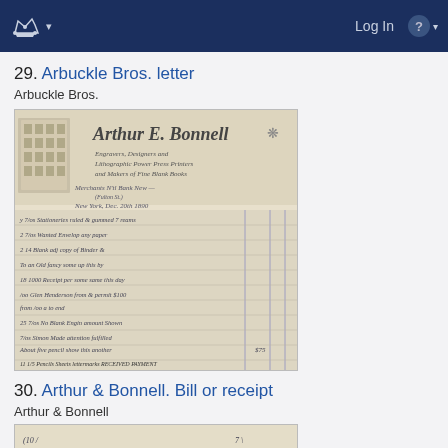Log In
29. Arbuckle Bros. letter
Arbuckle Bros.
[Figure (photo): Scanned historical bill or receipt from Arthur E. Bonnell, Engravers, Designers and Lithographic Power Press Printers and Makers of Fine Blank Books, New York. Shows decorative letterhead with building illustration and handwritten entries in old script.]
30. Arthur & Bonnell. Bill or receipt
Arthur & Bonnell
[Figure (photo): Partial scanned image of another historical bill or receipt, showing the top portion with handwritten cursive text.]